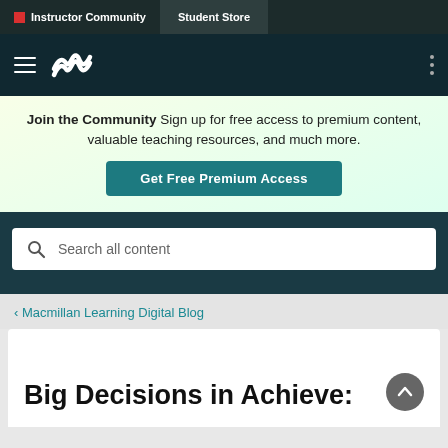Instructor Community | Student Store
[Figure (logo): Macmillan Learning logo with hamburger menu in dark navy nav bar]
Join the Community  Sign up for free access to premium content, valuable teaching resources, and much more.
Get Free Premium Access
Search all content
‹ Macmillan Learning Digital Blog
Big Decisions in Achieve: